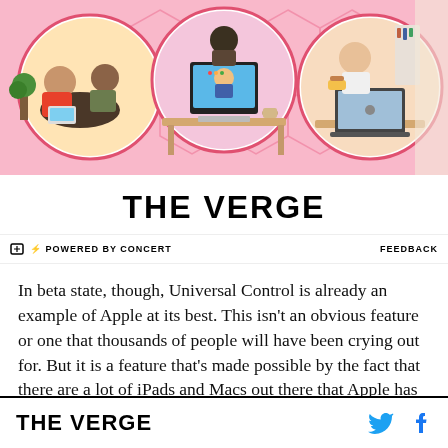[Figure (illustration): Colorful illustrated banner with three circular vignettes on a pink/hexagon background: left circle shows two people on a couch with a laptop, center circle shows a person at a desk with a computer, right circle shows a person eating while working at a laptop.]
THE VERGE
⚡ POWERED BY CONCERT    FEEDBACK
In beta state, though, Universal Control is already an example of Apple at its best. This isn't an obvious feature or one that thousands of people will have been crying out for. But it is a feature that's made possible by the fact that there are a lot of iPads and Macs out there that Apple has full control of the software for and a feature that will make a
THE VERGE